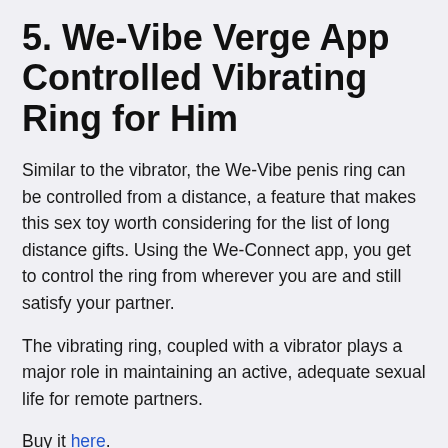5. We-Vibe Verge App Controlled Vibrating Ring for Him
Similar to the vibrator, the We-Vibe penis ring can be controlled from a distance, a feature that makes this sex toy worth considering for the list of long distance gifts. Using the We-Connect app, you get to control the ring from wherever you are and still satisfy your partner.
The vibrating ring, coupled with a vibrator plays a major role in maintaining an active, adequate sexual life for remote partners.
Buy it here.
6. Sexy Lingerie